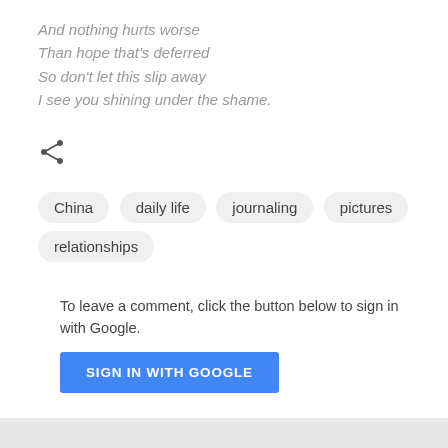And nothing hurts worse
Than hope that's deferred
So don't let this slip away
I see you shining under the shame.
[Figure (other): Share icon (less-than symbol with dots representing a share button)]
China
daily life
journaling
pictures
relationships
To leave a comment, click the button below to sign in with Google.
SIGN IN WITH GOOGLE